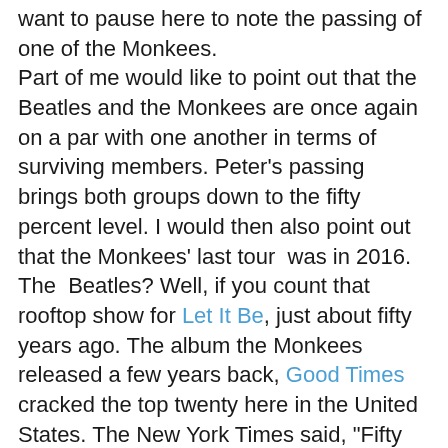want to pause here to note the passing of one of the Monkees.
Part of me would like to point out that the Beatles and the Monkees are once again on a par with one another in terms of surviving members. Peter's passing brings both groups down to the fifty percent level. I would then also point out that the Monkees' last tour  was in 2016. The  Beatles? Well, if you count that rooftop show for Let It Be, just about fifty years ago. The album the Monkees released a few years back, Good Times cracked the top twenty here in the United States. The New York Times said, "Fifty years later, the Monkees are still endearing."
So there you have it: Good News! Still endearing! Even after Davy danced off to heaven back in 2012, the so-called Pre-fab Four were able to come together and be the musical force that I knew they were half a century ago. Back when the Monkees were my favorite band. In the interest of transparency, I had second pick behind my older brother. He picked the Beatles. I picked the Monkees. When I ended up with Johnny Lightning to his Hot Wheels, I sensed that I may have gotten the short end of the die-cast car stick.
But that wasn't the case with the Monkees. They were a hit-